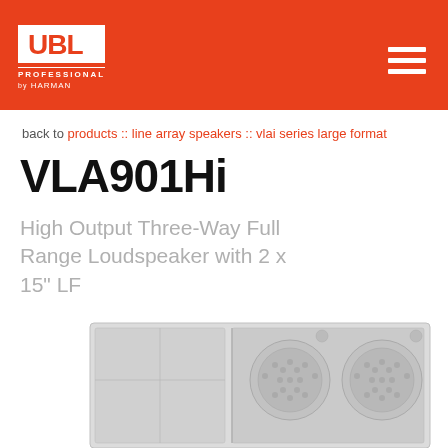[Figure (logo): JBL Professional by Harman logo on orange header bar with hamburger menu icon]
back to products :: line array speakers :: vlai series large format
VLA901Hi
High Output Three-Way Full Range Loudspeaker with 2 x 15" LF
[Figure (photo): VLA901Hi loudspeaker cabinet rendered in light gray, showing front face with two 15-inch woofer grilles and horn, viewed from a slight angle]